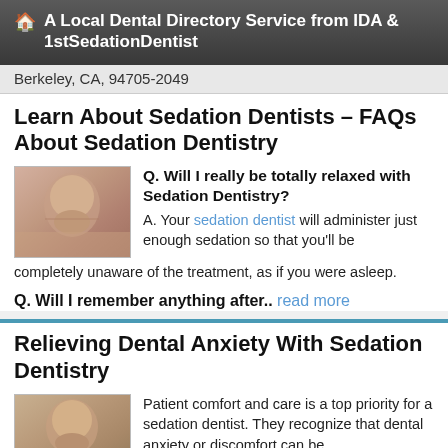🏠 A Local Dental Directory Service from IDA & 1stSedationDentist
Berkeley, CA, 94705-2049
Learn About Sedation Dentists – FAQs About Sedation Dentistry
[Figure (photo): Woman with eyes closed, appearing relaxed, resting head on hand]
Q. Will I really be totally relaxed with Sedation Dentistry?
A. Your sedation dentist will administer just enough sedation so that you'll be completely unaware of the treatment, as if you were asleep.
Q. Will I remember anything after.. read more
Relieving Dental Anxiety With Sedation Dentistry
[Figure (photo): Woman with eyes closed, appearing calm and relaxed]
Patient comfort and care is a top priority for a sedation dentist. They recognize that dental anxiety or discomfort can be